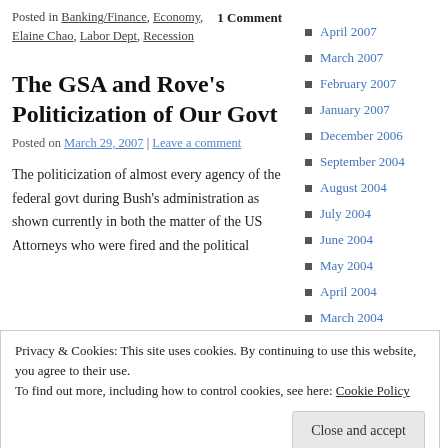Posted in Banking/Finance, Economy, Elaine Chao, Labor Dept, Recession    1 Comment
The GSA and Rove's Politicization of Our Govt
Posted on March 29, 2007 | Leave a comment
The politicization of almost every agency of the federal govt during Bush's administration as shown currently in both the matter of the US Attorneys who were fired and the political
Privacy & Cookies: This site uses cookies. By continuing to use this website, you agree to their use.
To find out more, including how to control cookies, see here: Cookie Policy
Close and accept
the comprehensive Bushian policy of putting
April 2007
March 2007
February 2007
January 2007
December 2006
September 2004
August 2004
July 2004
June 2004
May 2004
April 2004
March 2004
February 2004
September 2003